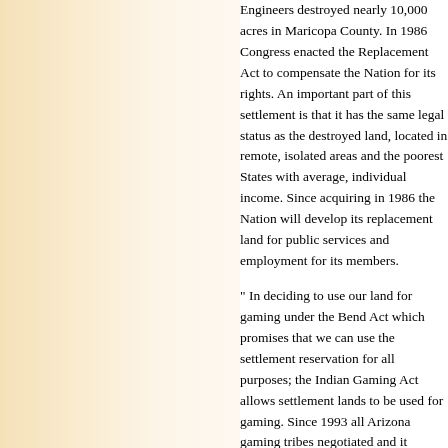Engineers destroyed nearly 10,000 acres in Maricopa County. In 1986 Congress enacted the Replacement Act to compensate the Nation for its rights. An important part of this settlement is that it has the same legal status as the destroyed land, located in remote, isolated areas and among the poorest States with average, individual income. Since acquiring in 1986 the Nation will develop its replacement land for public services and employment for its members.
" In deciding to use our land for gaming under the Bend Act which promises that we can use the settlement reservation for all purposes; the Indian Gaming Act allows settlement lands to be used for gaming. Since 1993 all Arizona gaming tribes negotiated and it authorizes new lands consistent with the requirements."
"The Nation has had it with the constant lies, backroom deals and secret plans. These have been found by the courts. Here are the facts. Not only has this been the subject of extensive hearings in the legislature, it is explicitly preserved in the 2004 Arizona Compact. Salt River Indian Community secured its enormous compact. Not only does the tribal state compact clearly apply to all land in Maricopa County it also explicitly refuses to change the compact terms. Our sister"